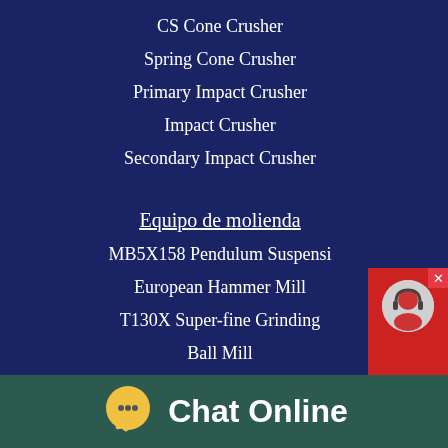CS Cone Crusher
Spring Cone Crusher
Primary Impact Crusher
Impact Crusher
Secondary Impact Crusher
Equipo de molienda
MB5X158 Pendulum Suspensi
European Hammer Mill
T130X Super-fine Grinding
Ball Mill
Trapezium Mill
[Figure (other): Chat Now widget with red background and headset icon and close button]
[Figure (other): Chat Online bar at the bottom with yellow speech bubble icon and green background]